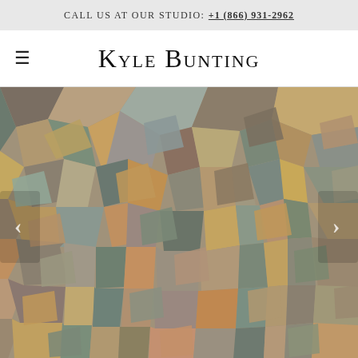Call us at our studio: +1 (866) 931-2962
Kyle Bunting
[Figure (photo): Geometric patchwork cowhide rug with mosaic pattern of triangular and polygonal pieces in shades of gold, tan, taupe, brown, and soft teal/blue-grey, arranged in an abstract cubist-style pattern. Navigation arrows visible on left and right edges of image.]